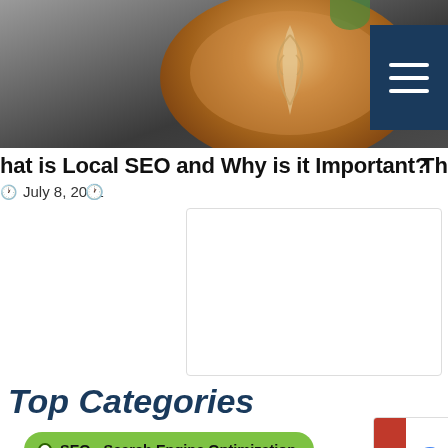[Figure (photo): Top portion of a webpage showing a laptop keyboard and coffee cup with latte art, plus a hamburger menu button on a dark navy background in top right]
hat is Local SEO and Why is it Important?
July 8, 2021
[Figure (logo): Google Premier Partner badge with red vertical PREMIER bar on the left, Google multicolor text, and Partner in large gray text]
Top Categories
SEO - Search Engine Optimization
SMM - Social Media Marketing
Internet Marketing
PPC - Pay Per Click Management
Online Advertising
Informational
Web Design and Development
Coding | Programming
Business Development
Reputation Management
Analytics - KPI's